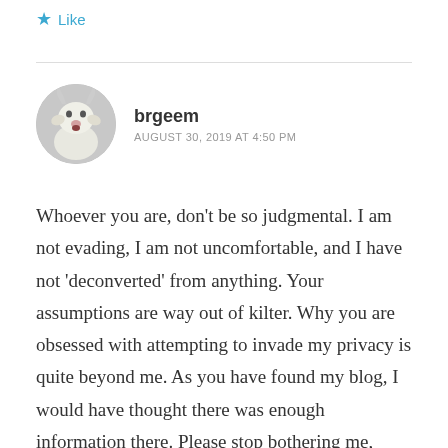Like
brgeem
AUGUST 30, 2019 AT 4:50 PM
Whoever you are, don't be so judgmental. I am not evading, I am not uncomfortable, and I have not 'deconverted' from anything. Your assumptions are way out of kilter. Why you are obsessed with attempting to invade my privacy is quite beyond me. As you have found my blog, I would have thought there was enough information there. Please stop bothering me, because I don't like blocking people.